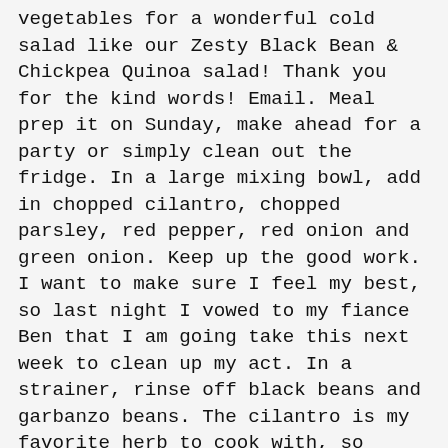vegetables for a wonderful cold salad like our Zesty Black Bean & Chickpea Quinoa salad! Thank you for the kind words! Email. Meal prep it on Sunday, make ahead for a party or simply clean out the fridge. In a large mixing bowl, add in chopped cilantro, chopped parsley, red pepper, red onion and green onion. Keep up the good work. I want to make sure I feel my best, so last night I vowed to my fiance Ben that I am going take this next week to clean up my act. In a strainer, rinse off black beans and garbanzo beans. The cilantro is my favorite herb to cook with, so fragrant and tasty and the beans help add another layer of protein. The possibilities with this are endless! Rinse the quinoa in a sieve then add it to the pot. Dear Reader, if there’s one thing I have learned more than anything over the past five years, it’s that no matter how prepared I think am, there’s always going to be hitch. Gently shake to remove excess water and set aside to let remaining water run off. Hi, quinoa lovers! In a small mixing bowl, combine all ingredients for vinaigrette and whisk well. Quinoa salads are always a favorite of mine. 1/3 cup fresh lime